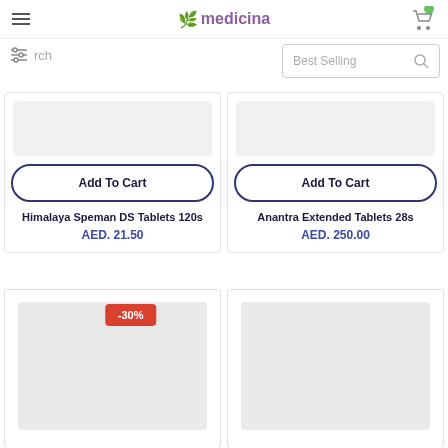medicina
Search
Best Selling
Add To Cart
Add To Cart
Himalaya Speman DS Tablets 120s
AED. 21.50
Anantra Extended Tablets 28s
AED. 250.00
[Figure (screenshot): Product image placeholder (gray box) for lower-left product card with -30% discount badge]
[Figure (screenshot): Product image placeholder (gray box) for lower-right product card]